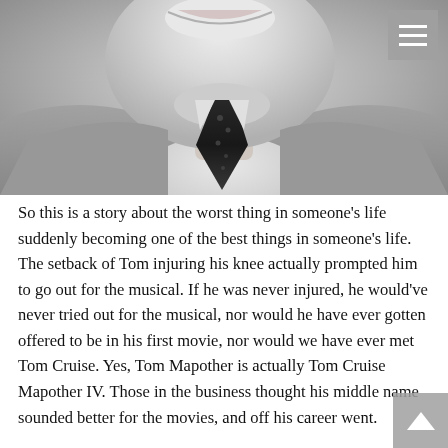[Figure (photo): Black and white photograph of a young man smiling, wearing a suit jacket and dark tie with a pattern. The photo is cropped from the mouth/chin area down to the chest.]
So this is a story about the worst thing in someone’s life suddenly becoming one of the best things in someone’s life. The setback of Tom injuring his knee actually prompted him to go out for the musical. If he was never injured, he would’ve never tried out for the musical, nor would he have ever gotten offered to be in his first movie, nor would we have ever met Tom Cruise. Yes, Tom Mapother is actually Tom Cruise Mapother IV. Those in the business thought his middle name sounded better for the movies, and off his career went.